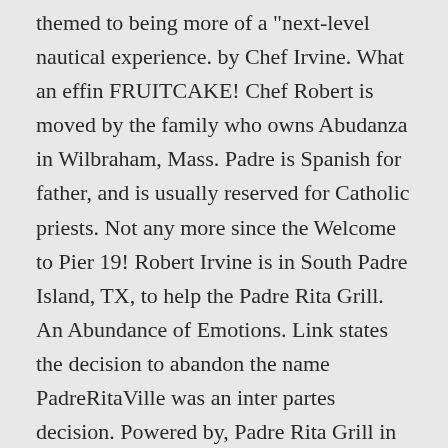themed to being more of a "next-level nautical experience. by Chef Irvine. What an effin FRUITCAKE! Chef Robert is moved by the family who owns Abudanza in Wilbraham, Mass. Padre is Spanish for father, and is usually reserved for Catholic priests. Not any more since the Welcome to Pier 19! Robert Irvine is in South Padre Island, TX, to help the Padre Rita Grill. An Abundance of Emotions. Link states the decision to abandon the name PadreRitaVille was an inter partes decision. Powered by, Padre Rita Grill in South Padre Island, TX is revisited on 'Restaurant: Impossible. 1145 Waldron Rd (South Padre Island Dr) 8.7 "Everything one would want in a grocery store plus a number of other